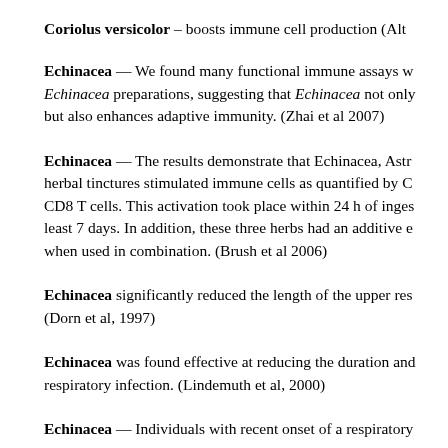Coriolus versicolor – boosts immune cell production (Alt…
Echinacea — We found many functional immune assays w… Echinacea preparations, suggesting that Echinacea not only… but also enhances adaptive immunity. (Zhai et al 2007)
Echinacea — The results demonstrate that Echinacea, Astr… herbal tinctures stimulated immune cells as quantified by C… CD8 T cells. This activation took place within 24 h of inges… least 7 days. In addition, these three herbs had an additive e… when used in combination. (Brush et al 2006)
Echinacea significantly reduced the length of the upper res… (Dorn et al, 1997)
Echinacea was found effective at reducing the duration and… respiratory infection. (Lindemuth et al, 2000)
Echinacea — Individuals with recent onset of a respiratory…